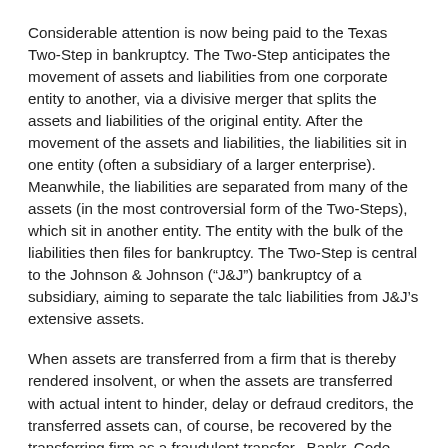Considerable attention is now being paid to the Texas Two-Step in bankruptcy. The Two-Step anticipates the movement of assets and liabilities from one corporate entity to another, via a divisive merger that splits the assets and liabilities of the original entity. After the movement of the assets and liabilities, the liabilities sit in one entity (often a subsidiary of a larger enterprise). Meanwhile, the liabilities are separated from many of the assets (in the most controversial form of the Two-Steps), which sit in another entity. The entity with the bulk of the liabilities then files for bankruptcy. The Two-Step is central to the Johnson & Johnson (“J&J”) bankruptcy of a subsidiary, aiming to separate the talc liabilities from J&J’s extensive assets.
When assets are transferred from a firm that is thereby rendered insolvent, or when the assets are transferred with actual intent to hinder, delay or defraud creditors, the transferred assets can, of course, be recovered by the transferring firm as a fraudulent transfer.  Bankr. Code § 548.  Similar transactions are regularly accomplished under corporate structures as spinoffs: the firm moves assets into a subsidiary, for example, and then “spins” off the subsidiary’s stock to the firm’s stockholders. After the spinoff the old stockholders own two companies, one with the assets (and possibly some of the liabilities of the intracompany subsidiary)